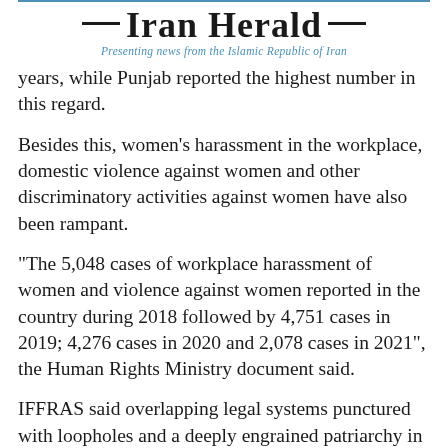Iran Herald — Presenting news from the Islamic Republic of Iran
years, while Punjab reported the highest number in this regard.
Besides this, women's harassment in the workplace, domestic violence against women and other discriminatory activities against women have also been rampant.
"The 5,048 cases of workplace harassment of women and violence against women reported in the country during 2018 followed by 4,751 cases in 2019; 4,276 cases in 2020 and 2,078 cases in 2021", the Human Rights Ministry document said.
IFFRAS said overlapping legal systems punctured with loopholes and a deeply engrained patriarchy in the society combine to ensure women survivors of violence are invariably lost in institutions on the...